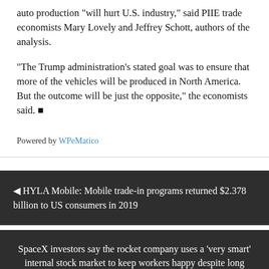auto production “will hurt U.S. industry,” said PIIE trade economists Mary Lovely and Jeffrey Schott, authors of the analysis.
“The Trump administration’s stated goal was to ensure that more of the vehicles will be produced in North America. But the outcome will be just the opposite,” the economists said. ■
Powered by WPeMatico
◄ HYLA Mobile: Mobile trade-in programs returned $2.378 billion to US consumers in 2019
SpaceX investors say the rocket company uses a ‘very smart’ internal stock market to keep workers happy despite long hours and ‘mediocre’ salaries ►